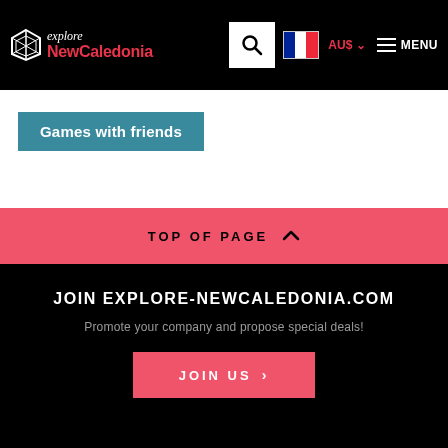explore NewCaledonia — Search | AU$ | MENU
Games with friends
TOP OF PAGE
JOIN EXPLORE-NEWCALEDONIA.COM
Promote your company and propose special deals!
JOIN US
DON'T MISS ANYTHING!